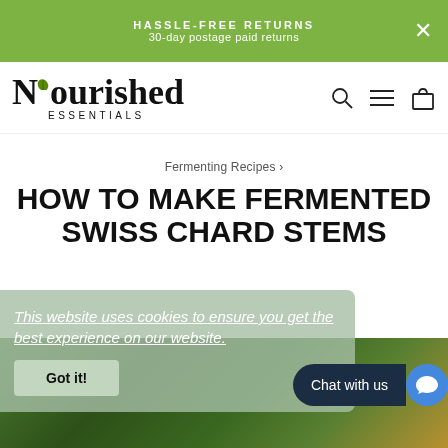HASSLE-FREE RETURNS
30-day postage paid returns
[Figure (logo): Nourished Essentials logo with leaf accent]
Fermenting Recipes ›
HOW TO MAKE FERMENTED SWISS CHARD STEMS
This website uses cookies to ensure you get the best experience on our website.
Got it!
Chat with us
[Figure (photo): Swiss chard leaves and stems photo background]